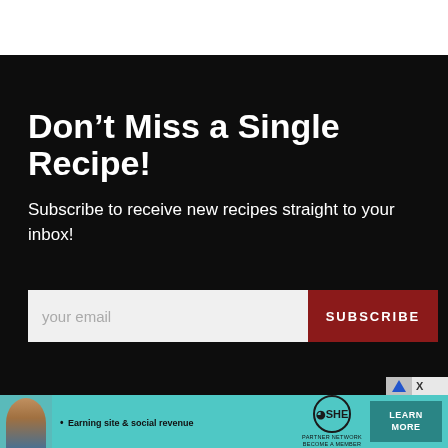Don’t Miss a Single Recipe!
Subscribe to receive new recipes straight to your inbox!
[Figure (screenshot): Email subscription form with a white email input field labeled 'your email' and a dark red SUBSCRIBE button]
[Figure (infographic): SHE Partner Network advertisement banner on teal background with woman photo, bullet point 'Earning site & social revenue', SHE logo, and a Learn More button]
X